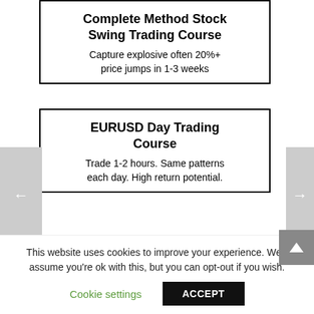Complete Method Stock Swing Trading Course
Capture explosive often 20%+ price jumps in 1-3 weeks
EURUSD Day Trading Course
Trade 1-2 hours. Same patterns each day. High return potential.
Forex Trading Introduction Course
Learn to take advantage of this lucrative 24-hour market.
This website uses cookies to improve your experience. We'll assume you're ok with this, but you can opt-out if you wish.
Cookie settings | ACCEPT